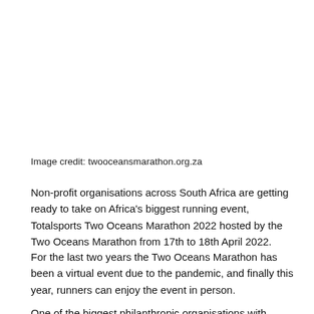Image credit: twooceansmarathon.org.za
Non-profit organisations across South Africa are getting ready to take on Africa's biggest running event, Totalsports Two Oceans Marathon 2022 hosted by the Two Oceans Marathon from 17th to 18th April 2022.
For the last two years the Two Oceans Marathon has been a virtual event due to the pandemic, and finally this year, runners can enjoy the event in person.
One of the biggest philanthropic organisations with…